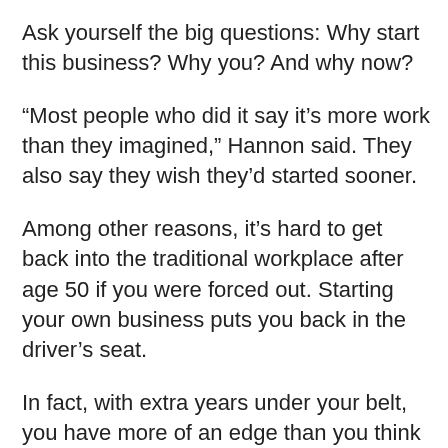Ask yourself the big questions: Why start this business? Why you? And why now?
“Most people who did it say it’s more work than they imagined,” Hannon said. They also say they wish they’d started sooner.
Among other reasons, it’s hard to get back into the traditional workplace after age 50 if you were forced out. Starting your own business puts you back in the driver’s seat.
In fact, with extra years under your belt, you have more of an edge than you think when it comes to starting a business, Hannon says.The 50-plus crowd